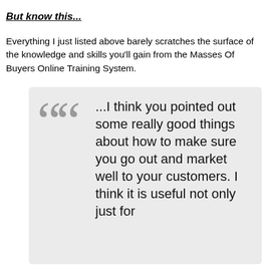But know this...
Everything I just listed above barely scratches the surface of the knowledge and skills you'll gain from the Masses Of Buyers Online Training System.
...I think you pointed out some really good things about how to make sure you go out and market well to your customers. I think it is useful not only just for